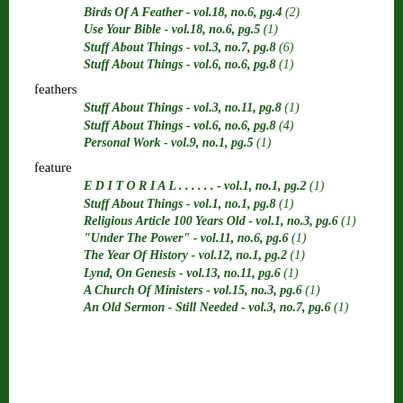Birds Of A Feather - vol.18, no.6, pg.4 (2)
Use Your Bible - vol.18, no.6, pg.5 (1)
Stuff About Things - vol.3, no.7, pg.8 (6)
Stuff About Things - vol.6, no.6, pg.8 (1)
feathers
Stuff About Things - vol.3, no.11, pg.8 (1)
Stuff About Things - vol.6, no.6, pg.8 (4)
Personal Work - vol.9, no.1, pg.5 (1)
feature
E D I T O R I A L . . . . . . - vol.1, no.1, pg.2 (1)
Stuff About Things - vol.1, no.1, pg.8 (1)
Religious Article 100 Years Old - vol.1, no.3, pg.6 (1)
"Under The Power" - vol.11, no.6, pg.6 (1)
The Year Of History - vol.12, no.1, pg.2 (1)
Lynd, On Genesis - vol.13, no.11, pg.6 (1)
A Church Of Ministers - vol.15, no.3, pg.6 (1)
An Old Sermon - Still Needed - vol.3, no.7, pg.6 (1)